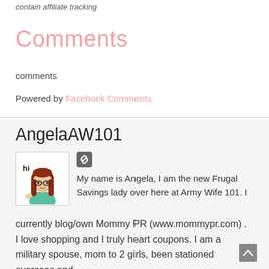contain affiliate tracking
Comments
comments
Powered by Facebook Comments
AngelaAW101
[Figure (illustration): Cartoon avatar of a woman with red hair and glasses saying hi]
My name is Angela, I am the new Frugal Savings lady over here at Army Wife 101. I currently blog/own Mommy PR (www.mommypr.com) . I love shopping and I truly heart coupons. I am a military spouse, mom to 2 girls, been stationed overseas and